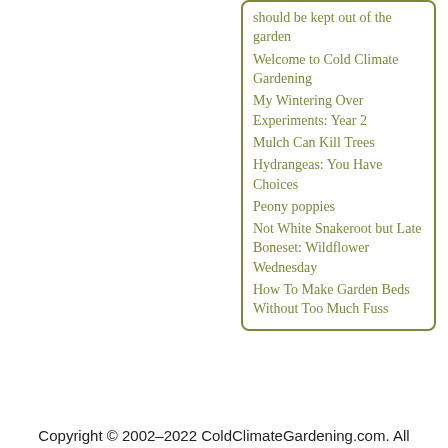should be kept out of the garden
Welcome to Cold Climate Gardening
My Wintering Over Experiments: Year 2
Mulch Can Kill Trees
Hydrangeas: You Have Choices
Peony poppies
Not White Snakeroot but Late Boneset: Wildflower Wednesday
How To Make Garden Beds Without Too Much Fuss
Copyright © 2002–2022 ColdClimateGardening.com. All